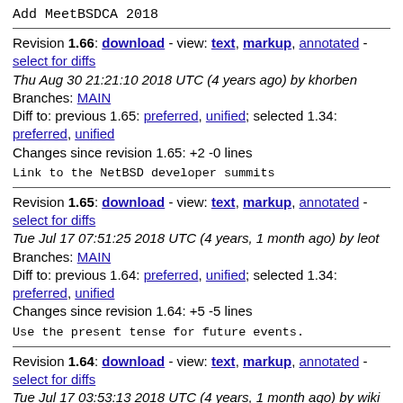Add MeetBSDCA 2018
Revision 1.66: download - view: text, markup, annotated - select for diffs
Thu Aug 30 21:21:10 2018 UTC (4 years ago) by khorben
Branches: MAIN
Diff to: previous 1.65: preferred, unified; selected 1.34: preferred, unified
Changes since revision 1.65: +2 -0 lines
Link to the NetBSD developer summits
Revision 1.65: download - view: text, markup, annotated - select for diffs
Tue Jul 17 07:51:25 2018 UTC (4 years, 1 month ago) by leot
Branches: MAIN
Diff to: previous 1.64: preferred, unified; selected 1.34: preferred, unified
Changes since revision 1.64: +5 -5 lines
Use the present tense for future events.
Revision 1.64: download - view: text, markup, annotated - select for diffs
Tue Jul 17 03:53:13 2018 UTC (4 years, 1 month ago) by wiki